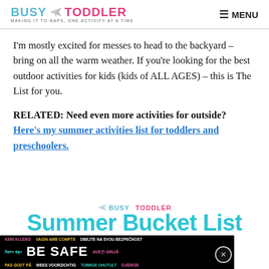BUSY TODDLER — MAKING IT TO NAPS, ONE ACTIVITY AT A TIME  ≡ MENU
I'm mostly excited for messes to head to the backyard – bring on all the warm weather. If you're looking for the best outdoor activities for kids (kids of ALL AGES) – this is The List for you.
RELATED: Need even more activities for outside? Here's my summer activities list for toddlers and preschoolers.
[Figure (other): Busy Toddler Summer Bucket List branding image with teal text partially visible]
[Figure (other): BE SAFE multilingual safety advertisement banner in black background]